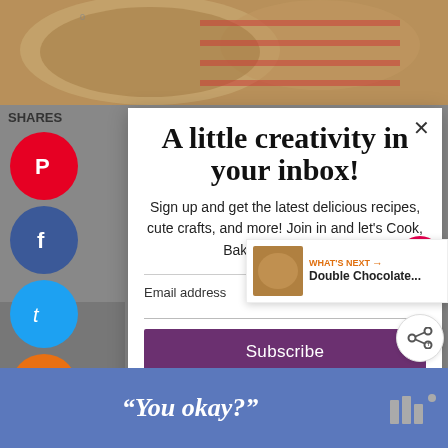[Figure (photo): Food photo at top (cookie/biscuit on red checkered surface)]
SHARES
A little creativity in your inbox!
Sign up and get the latest delicious recipes, cute crafts, and more! Join in and let's Cook, Bake, Craft, Create!
Email address
Subscribe
WHAT'S NEXT → Double Chocolate...
"You okay?"